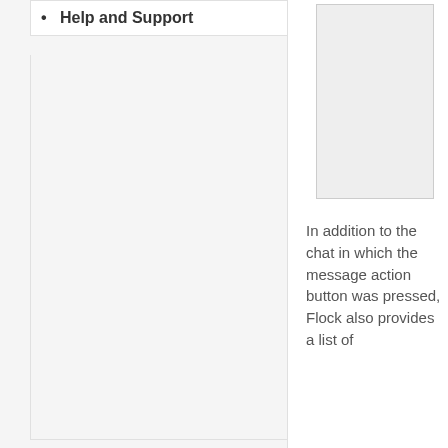Help and Support
[Figure (screenshot): A screenshot of a mobile phone interface showing a chat or messaging application screen]
In addition to the chat in which the message action button was pressed, Flock also provides a list of